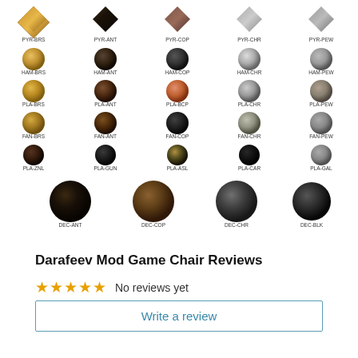[Figure (illustration): Grid of decorative nail/tack head styles in 5 columns and 6 rows. Row 1 (pyramids): PYR-BRS, PYR-ANT, PYR-COP, PYR-CHR, PYR-PEW. Row 2 (hammered round): HAM-BRS, HAM-ANT, HAM-COP, HAM-CHR, HAM-PEW. Row 3 (plain round): PLA-BRS, PLA-ANT, PLA-BCP, PLA-CHR, PLA-PEW. Row 4 (fancy/floral): FAN-BRS, FAN-ANT, FAN-COP, FAN-CHR, FAN-PEW. Row 5 (dark plain): PLA-ZNL, PLA-GUN, PLA-ASL, PLA-CAR, PLA-GAL. Row 6 (large decorative): DEC-ANT, DEC-COP, DEC-CHR, DEC-BLK.]
Darafeev Mod Game Chair Reviews
No reviews yet
Write a review